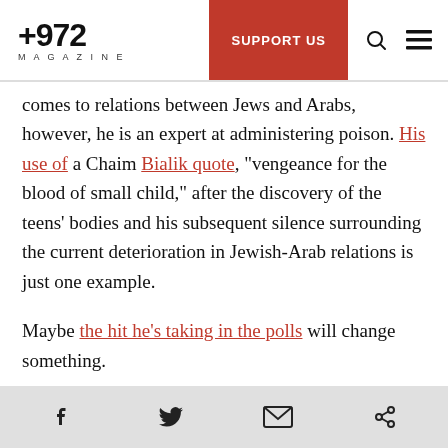+972 MAGAZINE | SUPPORT US
comes to relations between Jews and Arabs, however, he is an expert at administering poison. His use of a Chaim Bialik quote, “vengeance for the blood of small child,” after the discovery of the teens’ bodies and his subsequent silence surrounding the current deterioration in Jewish-Arab relations is just one example.
Maybe the hit he’s taking in the polls will change something.
Read this post in Hebrew on Local Call.
Social share icons: Facebook, Twitter, Email, Link